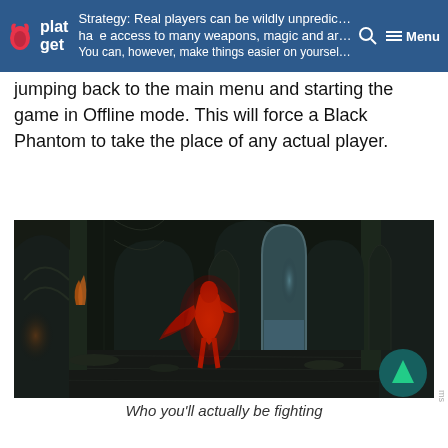platget — Strategy: Real players can be wildly unpredictable and have access to many weapons, magic and armour. You can, however, make things easier on yourself by
jumping back to the main menu and starting the game in Offline mode. This will force a Black Phantom to take the place of any actual player.
[Figure (screenshot): Dark fantasy game screenshot showing a red glowing phantom/enemy character in a dark gothic castle interior with arches and stone columns]
Who you'll actually be fighting